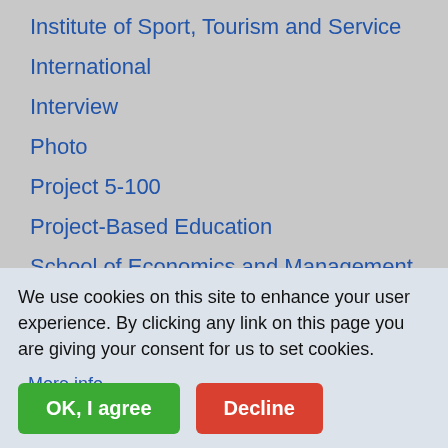Institute of Sport, Tourism and Service
International
Interview
Photo
Project 5-100
Project-Based Education
School of Economics and Management
We use cookies on this site to enhance your user experience. By clicking any link on this page you are giving your consent for us to set cookies.
More info
OK, I agree
Decline